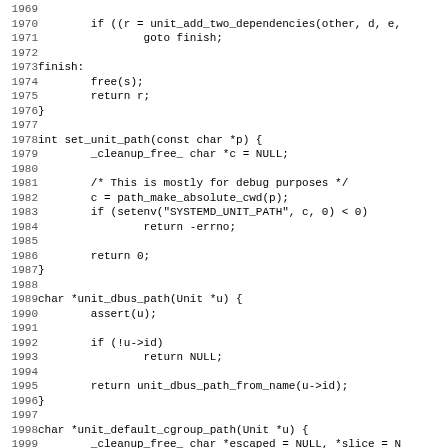[Figure (screenshot): Source code listing in C, lines 1969-2001, showing functions including finish label, set_unit_path, unit_dbus_path, and start of unit_default_cgroup_path]